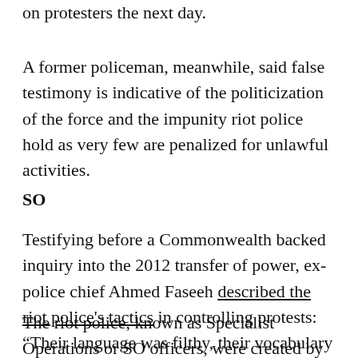on protesters the next day.
A former policeman, meanwhile, said false testimony is indicative of the politicization of the force and the impunity riot police hold as very few are penalized for unlawful activities.
SO
Testifying before a Commonwealth backed inquiry into the 2012 transfer of power, ex-police chief Ahmed Faseeh described the riot police's tactics in controlling protests: “Their language was filthy, their vocabulary was obscene. If they got hold of someone, they hit them.”
The riot police, known as Specialist Operations or SO officers, were created by former president Maumoon Abdul Gayoom to quell pro-democracy